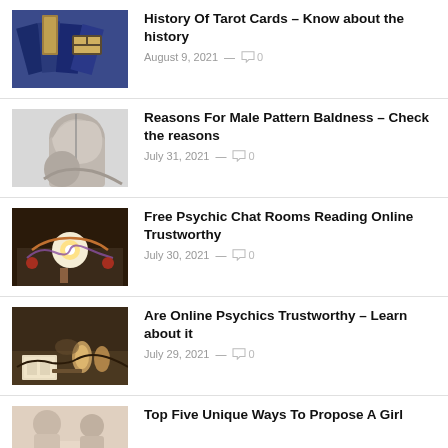History Of Tarot Cards – Know about the history | August 9, 2021 — 0
Reasons For Male Pattern Baldness – Check the reasons | July 31, 2021 — 0
Free Psychic Chat Rooms Reading Online Trustworthy | July 30, 2021 — 0
Are Online Psychics Trustworthy – Learn about it | July 29, 2021 — 0
Top Five Unique Ways To Propose A Girl